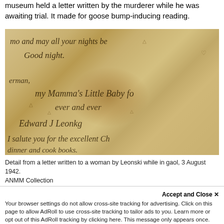museum held a letter written by the murderer while he was awaiting trial. It made for goose bump-inducing reading.
[Figure (photo): Close-up detail of a handwritten letter on aged, stained paper. Handwritten text in cursive includes phrases such as 'and may all your nights be Good night.', 'my Mamma's Little Baby for ever and ever', 'Edward J Leonkg', 'I salute you for the excellent Ch...', 'dinner and cook books.']
Detail from a letter written to a woman by Leonski while in gaol, 3 August 1942.
ANMM Collection
Accept and Close ✕
Your browser settings do not allow cross-site tracking for advertising. Click on this page to allow AdRoll to use cross-site tracking to tailor ads to you. Learn more or opt out of this AdRoll tracking by clicking here. This message only appears once.
Did you discover things in our collection you... your recovery without...